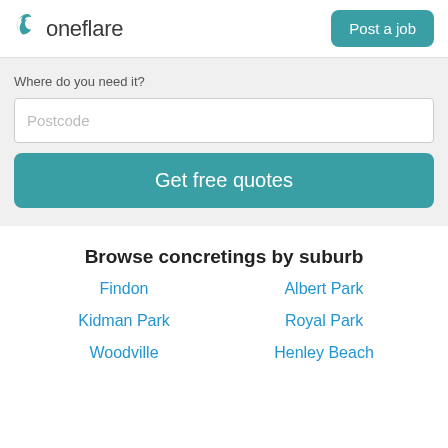oneflare | Post a job
Where do you need it?
Postcode
Get free quotes
Browse concretings by suburb
Findon
Albert Park
Kidman Park
Royal Park
Woodville
Henley Beach